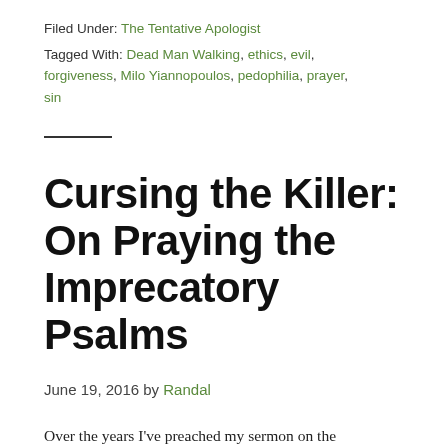Filed Under: The Tentative Apologist
Tagged With: Dead Man Walking, ethics, evil, forgiveness, Milo Yiannopoulos, pedophilia, prayer, sin
Cursing the Killer: On Praying the Imprecatory Psalms
June 19, 2016 by Randal
Over the years I've preached my sermon on the